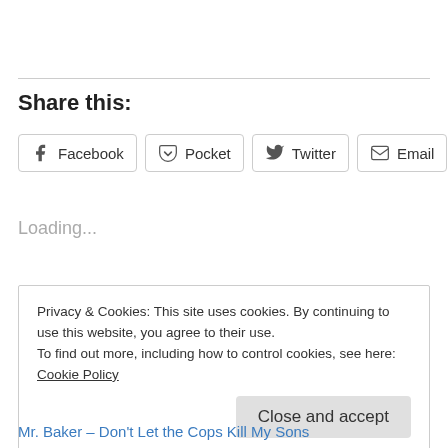Share this:
Facebook  Pocket  Twitter  Email  WhatsApp
Loading...
Privacy & Cookies: This site uses cookies. By continuing to use this website, you agree to their use.
To find out more, including how to control cookies, see here: Cookie Policy
Close and accept
Mr. Baker – Don't Let the Cops Kill My Sons